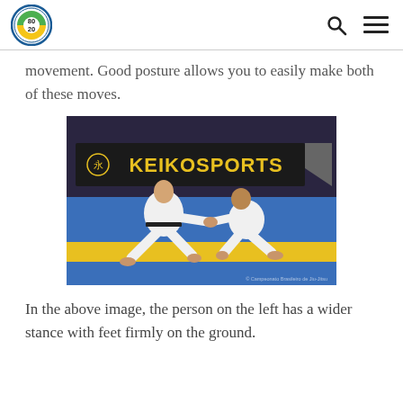80/20 BJJ logo with search and menu icons
movement. Good posture allows you to easily make both of these moves.
[Figure (photo): Two BJJ competitors in white gis grappling on a blue and yellow competition mat. A KEIKOSPORTS banner is visible in the background. The person on the left is in a wide stance reaching forward, while the person on the right is in a low crouching stance.]
In the above image, the person on the left has a wider stance with feet firmly on the ground.